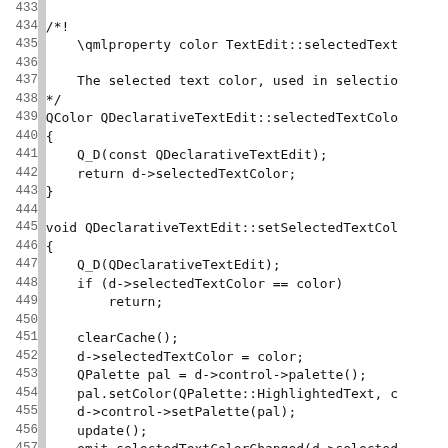Source code listing lines 433-462 showing QDeclarativeTextEdit::selectedTextColor getter and setter implementation in C++, plus start of a new comment block.